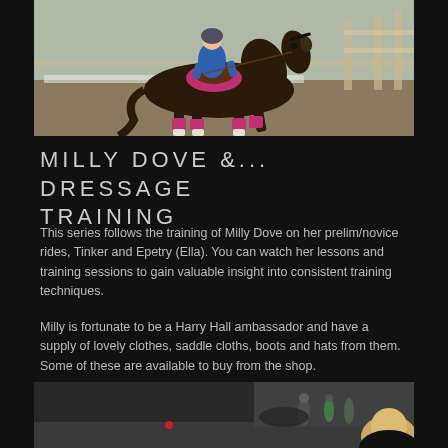[Figure (photo): A rider in blue outfit on a dark bay horse with pink/magenta saddle cloth and leg boots, trotting in an outdoor arena with wooden fencing in the background.]
MILLY DOVE &... DRESSAGE TRAINING
This series follows the training of Milly Dove on her prelim/novice rides, Tinker and Epetry (Ella). You can watch her lessons and training sessions to gain valuable insight into consistent training techniques.
Milly is fortunate to be a Harry Hall ambassador and have a supply of lovely clothes, saddle cloths, boots and hats from them. Some of these are available to buy from the shop.
[Figure (photo): A partial view of a person with blonde hair at bottom right, with figures and horses visible in an arena background.]